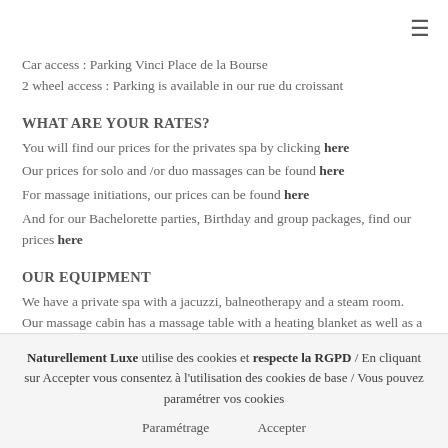Car access : Parking Vinci Place de la Bourse
2 wheel access : Parking is available in our rue du croissant
WHAT ARE YOUR RATES?
You will find our prices for the privates spa by clicking here
Our prices for solo and /or duo massages can be found here
For massage initiations, our prices can be found here
And for our Bachelorette parties, Birthday and group packages, find our prices here
OUR EQUIPMENT
We have a private spa with a jacuzzi, balneotherapy and a steam room. Our massage cabin has a massage table with a heating blanket as well as a head
Naturellement Luxe utilise des cookies et respecte la RGPD / En cliquant sur Accepter vous consentez à l'utilisation des cookies de base / Vous pouvez paramétrer vos cookies
Paramétrage    Accepter